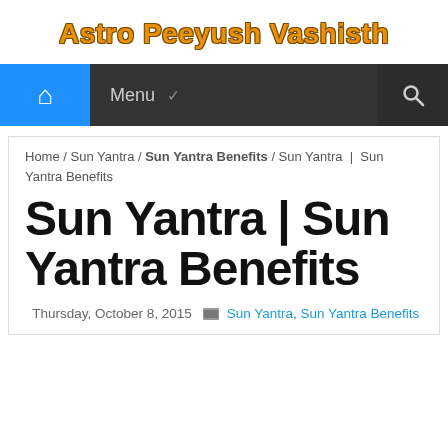Astro Peeyush Vashisth
[Figure (other): Navigation bar with blue home icon button, Menu dropdown, and search icon on dark background]
Home / Sun Yantra / Sun Yantra Benefits / Sun Yantra | Sun Yantra Benefits
Sun Yantra | Sun Yantra Benefits
Thursday, October 8, 2015  Sun Yantra, Sun Yantra Benefits